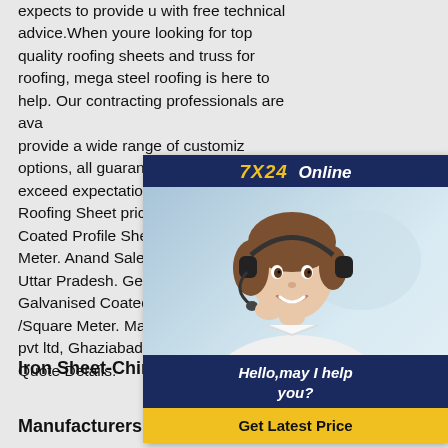expects to provide u with free technical advice.When youre looking for top quality roofing sheets and truss for roofing, mega steel roofing is here to help. Our contracting professionals are available to provide a wide range of customization options, all guaranteed to meet and exceed expectations.Latest Wall Cladding Roofing Sheet price in IndiaJSW Color Coated Profile Sheets. 303.00 /Square Meter. Anand Sales Corporation, Hapur, Uttar Pradesh. Get Quote Details. Galvanised Coated Roofing Sheets. 340.00 /Square Meter. Mac tech international pvt ltd, Ghaziabad, Uttar Pradesh. Get Quote Details.
[Figure (other): Customer service chat widget showing a woman with headset, '7X24 Online' header, 'Hello,may I help you?' message, and 'Get Latest Price' button]
Iron Sheet-China Iron Sheet
Manufacturers & Suppliers Roofing